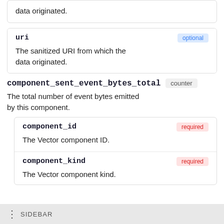data originated.
| uri | optional |
| --- | --- |
| The sanitized URI from which the data originated. |  |
component_sent_event_bytes_total counter
The total number of event bytes emitted by this component.
| component_id | required |
| --- | --- |
| The Vector component ID. |  |
| component_kind | required |
| --- | --- |
| The Vector component kind. |  |
SIDEBAR